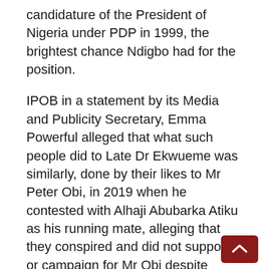candidature of the President of Nigeria under PDP in 1999, the brightest chance Ndigbo had for the position.
IPOB in a statement by its Media and Publicity Secretary, Emma Powerful alleged that what such people did to Late Dr Ekwueme was similarly, done by their likes to Mr Peter Obi, in 2019 when he contested with Alhaji Abubarka Atiku as his running mate, alleging that they conspired and did not support or campaign for Mr Obi despite being in the same political party – PDP, with him.
IPOB, therefore, said that the same people shouting President of Igbo extraction today will turn round to sabotaged their own people tomorrow in favour of a non-Igbo because of selfish interest especially with dangling of a little carrot to their face.